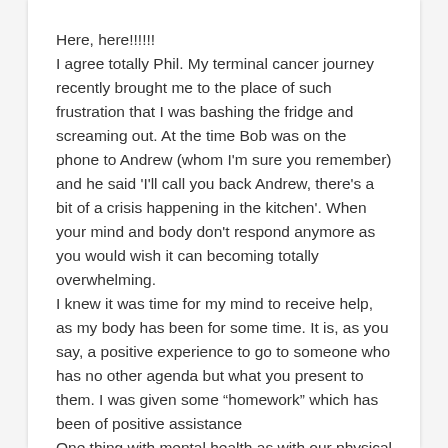Here, here!!!!!!
I agree totally Phil. My terminal cancer journey recently brought me to the place of such frustration that I was bashing the fridge and screaming out. At the time Bob was on the phone to Andrew (whom I'm sure you remember) and he said 'I'll call you back Andrew, there's a bit of a crisis happening in the kitchen'. When your mind and body don't respond anymore as you would wish it can becoming totally overwhelming.
I knew it was time for my mind to receive help, as my body has been for some time. It is, as you say, a positive experience to go to someone who has no other agenda but what you present to them. I was given some “homework” which has been of positive assistance
One thing with mental health as with our physical health, is that it doesn't remain static – it rises and falls with what happens in life. My next visit to my oncologist psychologist may be very soon after next